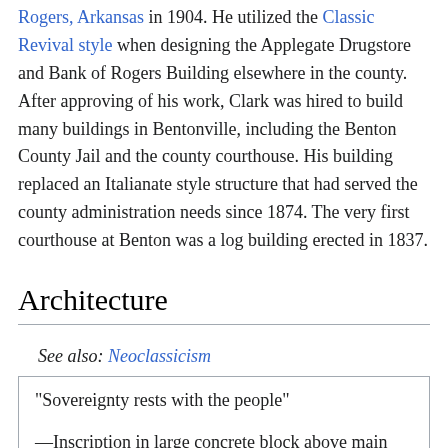Rogers, Arkansas in 1904. He utilized the Classic Revival style when designing the Applegate Drugstore and Bank of Rogers Building elsewhere in the county. After approving of his work, Clark was hired to build many buildings in Bentonville, including the Benton County Jail and the county courthouse. His building replaced an Italianate style structure that had served the county administration needs since 1874. The very first courthouse at Benton was a log building erected in 1837.
Architecture
See also: Neoclassicism
"Sovereignty rests with the people"

—Inscription in large concrete block above main entrance